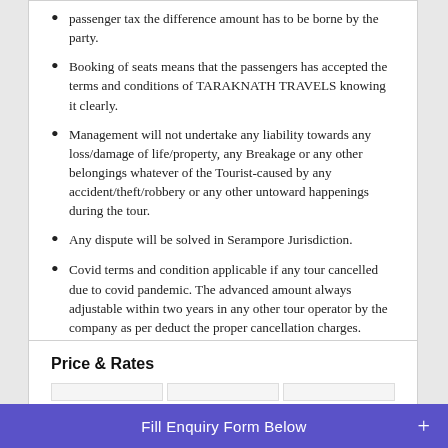passenger tax the difference amount has to be borne by the party.
Booking of seats means that the passengers has accepted the terms and conditions of TARAKNATH TRAVELS knowing it clearly.
Management will not undertake any liability towards any loss/damage of life/property, any Breakage or any other belongings whatever of the Tourist-caused by any accident/theft/robbery or any other untoward happenings during the tour.
Any dispute will be solved in Serampore Jurisdiction.
Covid terms and condition applicable if any tour cancelled due to covid pandemic. The advanced amount always adjustable within two years in any other tour operator by the company as per deduct the proper cancellation charges.
Price & Rates
Fill Enquiry Form Below +